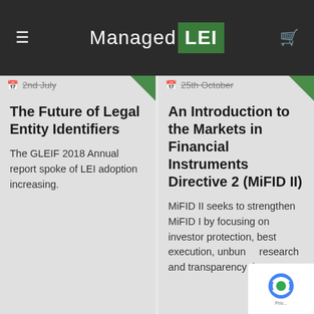Managed LEI
2nd July
The Future of Legal Entity Identifiers
The GLEIF 2018 Annual report spoke of LEI adoption increasing.
25th October
An Introduction to the Markets in Financial Instruments Directive 2 (MiFID II)
MiFID II seeks to strengthen MiFID I by focusing on investor protection, best execution, unbundling research and transparency through...